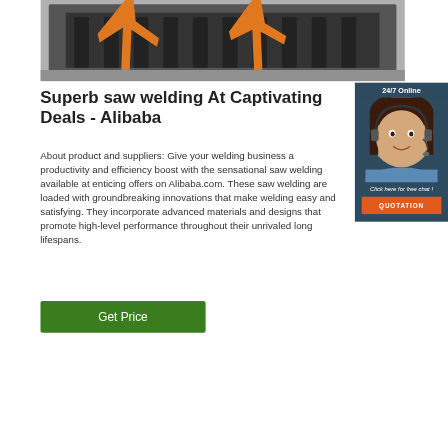[Figure (photo): Industrial saw welding machine with orange straps, showing roller mechanism, photographed in a factory setting.]
Superb saw welding At Captivating Deals - Alibaba
About product and suppliers: Give your welding business a productivity and efficiency boost with the sensational saw welding available at enticing offers on Alibaba.com. These saw welding are loaded with groundbreaking innovations that make welding easy and satisfying. They incorporate advanced materials and designs that promote high-level performance throughout their unrivaled long lifespans.
[Figure (infographic): 24/7 Online chat widget with female customer service agent wearing headset, showing 'Click here for free chat!' text and orange QUOTATION button.]
Get Price